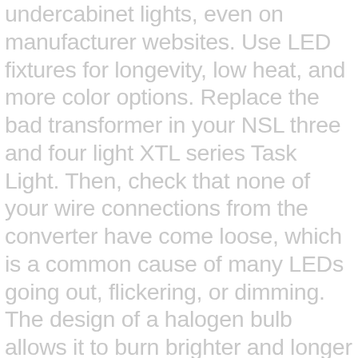undercabinet lights, even on manufacturer websites. Use LED fixtures for longevity, low heat, and more color options. Replace the bad transformer in your NSL three and four light XTL series Task Light. Then, check that none of your wire connections from the converter have come loose, which is a common cause of many LEDs going out, flickering, or dimming. The design of a halogen bulb allows it to burn brighter and longer than its incandescent cousin. I am contacting you on behalf of Kichler Lighting and I see that you are having problems with the under-cabinet lighting that is installed in your home. In fact, I can think of plenty of reasons why you can't depend on undercabinet lights for task lighting: • There's nowhere to put them at a window or at most islands or peninsulas. • Match the color temperature of the downlights. In plain English, this means that the intensity of the light at a point 2 feet away from the source is a quarter of what it is at a